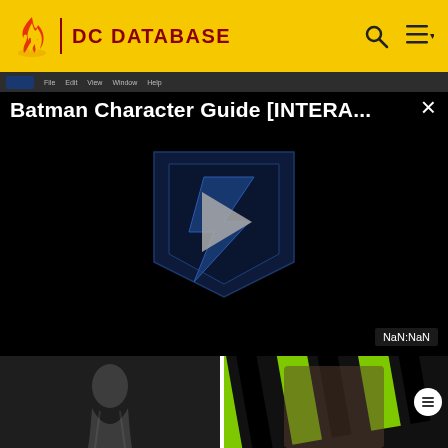DC DATABASE
[Figure (screenshot): Video player showing Batman Character Guide [INTERA...] with play button, dark background with DC logo watermark, and NaN:NaN timestamp]
[Figure (photo): Dark monochromatic image, Subconscious Larry thumbnail]
Subconscious Larry
[Figure (photo): Green and black striped costume image, Larry Trainer thumbnail]
Larry Trainer